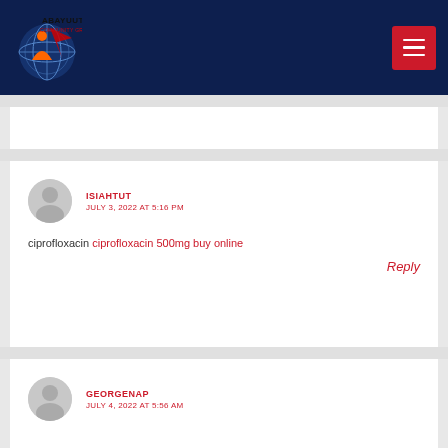ABAYUUTI COMMUNITY GROUP - navigation header
ISIAHTUT
JULY 3, 2022 AT 5:16 PM
ciprofloxacin ciprofloxacin 500mg buy online
Reply
GEORGENAP
JULY 4, 2022 AT 5:56 AM